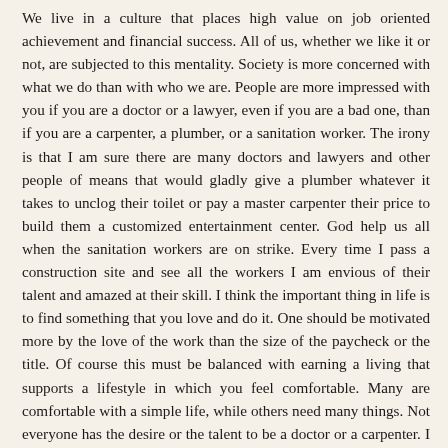We live in a culture that places high value on job oriented achievement and financial success. All of us, whether we like it or not, are subjected to this mentality. Society is more concerned with what we do than with who we are. People are more impressed with you if you are a doctor or a lawyer, even if you are a bad one, than if you are a carpenter, a plumber, or a sanitation worker. The irony is that I am sure there are many doctors and lawyers and other people of means that would gladly give a plumber whatever it takes to unclog their toilet or pay a master carpenter their price to build them a customized entertainment center. God help us all when the sanitation workers are on strike. Every time I pass a construction site and see all the workers I am envious of their talent and amazed at their skill. I think the important thing in life is to find something that you love and do it. One should be motivated more by the love of the work than the size of the paycheck or the title. Of course this must be balanced with earning a living that supports a lifestyle in which you feel comfortable. Many are comfortable with a simple life, while others need many things. Not everyone has the desire or the talent to be a doctor or a carpenter. I believe, however, that we are all good at something although it may take us years to discover our gift. Even if we may be in a job that doesn't completely reflect our desire or our talent, there are